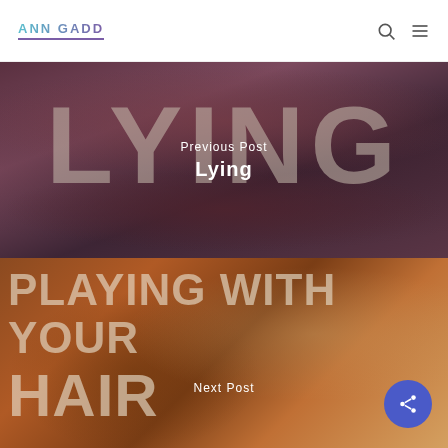ANN GADD
[Figure (photo): Close-up of dark-lipsticked lips forming background for 'Lying' book cover navigation block. Large semi-transparent 'LYING' text overlaid. Center text reads 'Previous Post' and 'Lying'.]
Previous Post
Lying
[Figure (photo): Book cover for 'Playing With Your Hair' on warm orange/brown background with hands. Large bold white text 'PLAYING WITH YOUR' and 'HAIR' partially visible. Center text reads 'Next Post'.]
Next Post